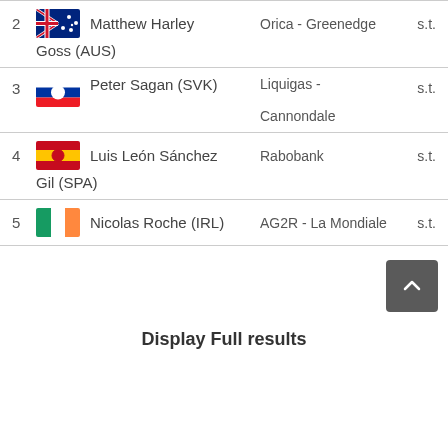| Pos | Rider | Team | Time |
| --- | --- | --- | --- |
| 2 | Matthew Harley Goss (AUS) | Orica - Greenedge | s.t. |
| 3 | Peter Sagan (SVK) | Liquigas - Cannondale | s.t. |
| 4 | Luis León Sánchez Gil (SPA) | Rabobank | s.t. |
| 5 | Nicolas Roche (IRL) | AG2R - La Mondiale | s.t. |
Display Full results